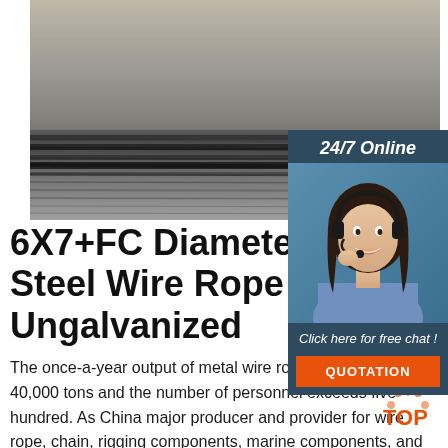[Figure (photo): Stacked steel plates/sheets with horizontal striations visible, gray metallic surface]
[Figure (photo): 24/7 Online customer support agent - woman wearing headset smiling, with dark navy blue panel showing '24/7 Online', 'Click here for free chat!' and orange QUOTATION button]
6X7+FC Diameter 2.38 Steel Wire Rope Ungalvanized
The once-a-year output of metal wire rope is in excess of 40,000 tons and the number of personnel exceeds five hundred. As China major producer and provider for wire rope, chain, rigging components, marine components, and lifting
[Figure (logo): TOP logo with orange dots arranged in triangle shape]